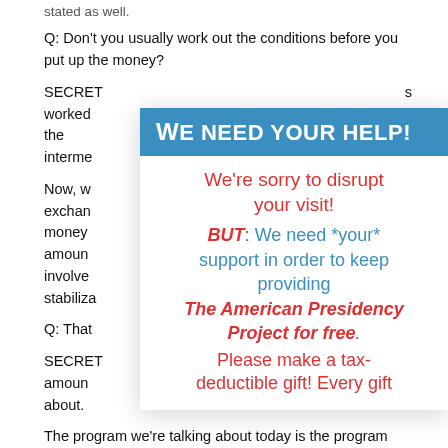stated as well.
Q: Don't you usually work out the conditions before you put up the money?
SECRETARY SIMON: ... s worked ... in the interme...
Now, w... is an exchan... some money... small amoun... ounts involve... t-term stabiliza...
Q: That...
SECRETARY ... mall amoun... g about.
[Figure (infographic): Overlay popup with blue header 'We Need Your Help!' and body text in red and blue requesting donations to The American Presidency Project]
The program we're talking about today is the program that is designed to reschedule their short-term debt to long-term